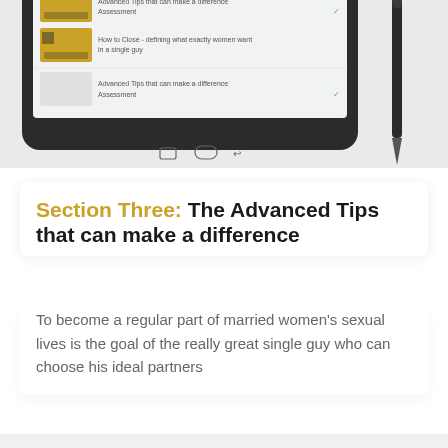[Figure (screenshot): Tablet device showing a course curriculum screen with golden thumbnail images and text entries, alongside a stylus pen]
Section Three: The Advanced Tips that can make a difference
To become a regular part of married women's sexual lives is the goal of the really great single guy who can choose his ideal partners